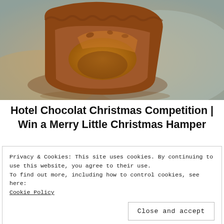[Figure (photo): Close-up photo of a bitten chocolate candy/cup with caramel filling, showing the cross-section texture, on a light surface]
Hotel Chocolat Christmas Competition | Win a Merry Little Christmas Hamper
Privacy & Cookies: This site uses cookies. By continuing to use this website, you agree to their use.
To find out more, including how to control cookies, see here:
Cookie Policy
Close and accept